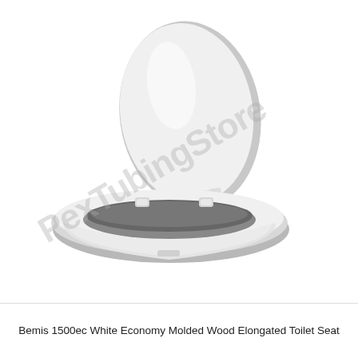[Figure (photo): White elongated toilet seat with lid open, shown at an angle. The lid is propped up vertically behind the seat ring. A watermark reading 'PexTubingStore' is overlaid diagonally across the image.]
Bemis 1500ec White Economy Molded Wood Elongated Toilet Seat